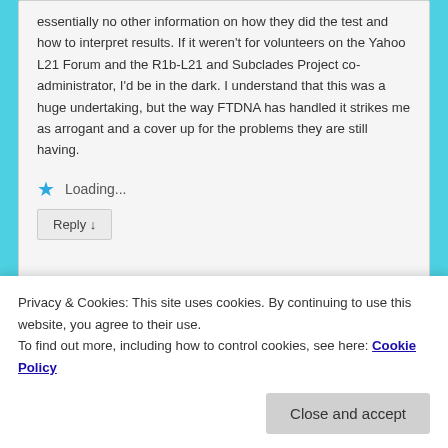essentially no other information on how they did the test and how to interpret results. If it weren't for volunteers on the Yahoo L21 Forum and the R1b-L21 and Subclades Project co- administrator, I'd be in the dark. I understand that this was a huge undertaking, but the way FTDNA has handled it strikes me as arrogant and a cover up for the problems they are still having.
★ Loading...
Reply ↓
Privacy & Cookies: This site uses cookies. By continuing to use this website, you agree to their use.
To find out more, including how to control cookies, see here: Cookie Policy
Close and accept
description of the process and issues.